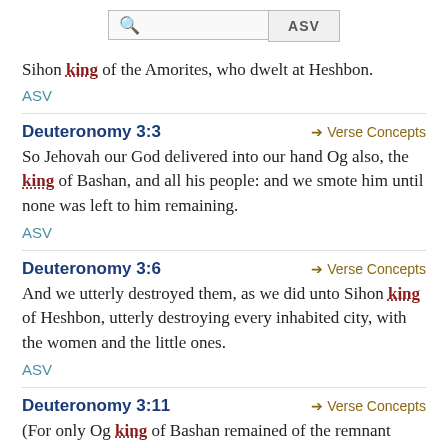Sihon king of the Amorites, who dwelt at Heshbon.
ASV
Deuteronomy 3:3
Verse Concepts
So Jehovah our God delivered into our hand Og also, the king of Bashan, and all his people: and we smote him until none was left to him remaining.
ASV
Deuteronomy 3:6
Verse Concepts
And we utterly destroyed them, as we did unto Sihon king of Heshbon, utterly destroying every inhabited city, with the women and the little ones.
ASV
Deuteronomy 3:11
Verse Concepts
(For only Og king of Bashan remained of the remnant